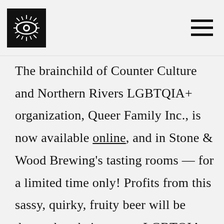[Logo: eye icon] [Navigation menu icon]
The brainchild of Counter Culture and Northern Rivers LGBTQIA+ organization, Queer Family Inc., is now available online, and in Stone & Wood Brewing's tasting rooms — for a limited time only! Profits from this sassy, quirky, fruity beer will be donated to their partner LGBTQIA+ charities.